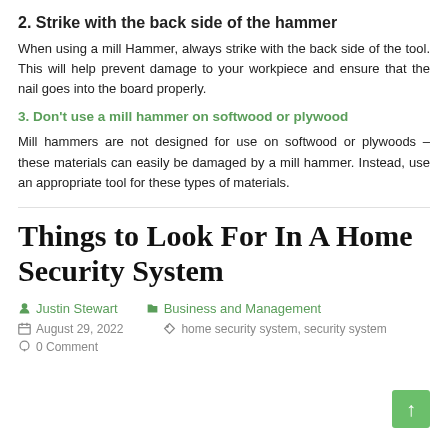2. Strike with the back side of the hammer
When using a mill Hammer, always strike with the back side of the tool. This will help prevent damage to your workpiece and ensure that the nail goes into the board properly.
3. Don't use a mill hammer on softwood or plywood
Mill hammers are not designed for use on softwood or plywoods – these materials can easily be damaged by a mill hammer. Instead, use an appropriate tool for these types of materials.
Things to Look For In A Home Security System
Justin Stewart   Business and Management
August 29, 2022   home security system, security system
0 Comment